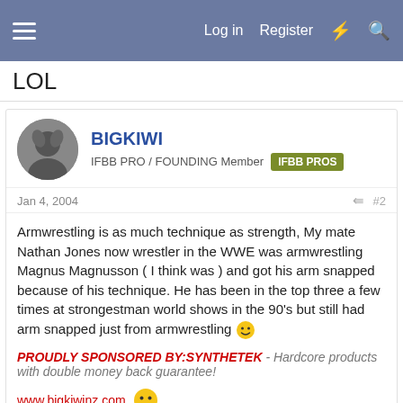LOL
BIGKIWI
IFBB PRO / FOUNDING Member  IFBB PROS
Jan 4, 2004  #2
Armwrestling is as much technique as strength, My mate Nathan Jones now wrestler in the WWE was armwrestling Magnus Magnusson ( I think was ) and got his arm snapped because of his technique. He has been in the top three a few times at strongestman world shows in the 90's but still had arm snapped just from armwrestling :)
PROUDLY SPONSORED BY:SYNTHETEK - Hardcore products with double money back guarantee!
www.bigkiwinz.com :)